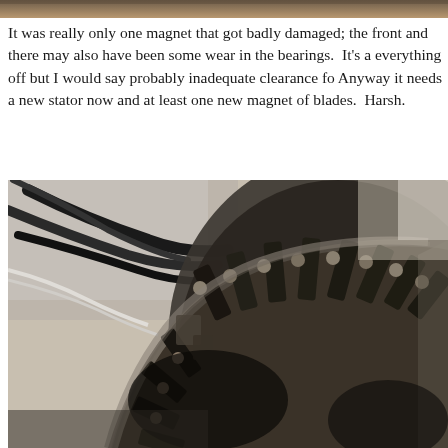[Figure (photo): Partial top strip image, cropped photo showing machinery or component at top of page]
It was really only one magnet that got badly damaged; the front and there may also have been some wear in the bearings.  It's a everything off but I would say probably inadequate clearance fo Anyway it needs a new stator now and at least one new magnet of blades.  Harsh.
[Figure (photo): Close-up photograph of a damaged wind turbine stator/rotor showing broken or burned coil windings and structural components, with cables visible in background]